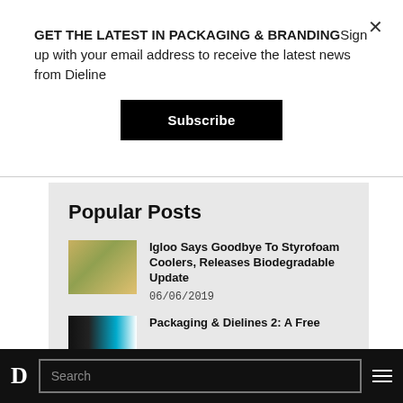GET THE LATEST IN PACKAGING & BRANDINGSign up with your email address to receive the latest news from Dieline
Subscribe
Popular Posts
[Figure (photo): Thumbnail image of a cardboard box package (Igloo biodegradable cooler)]
Igloo Says Goodbye To Styrofoam Coolers, Releases Biodegradable Update
06/06/2019
[Figure (photo): Thumbnail image of packaging with dark and cyan tones (Dielines book)]
Packaging & Dielines 2: A Free
D  Search  ≡